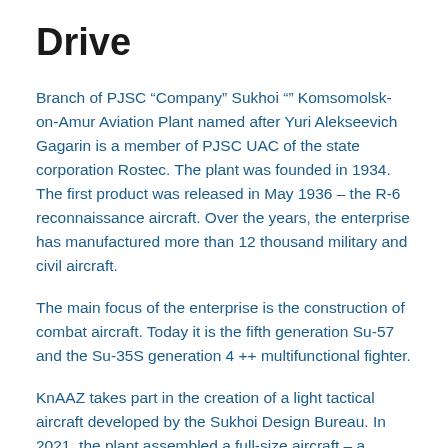Drive
Branch of PJSC “Company” Sukhoi “” Komsomolsk-on-Amur Aviation Plant named after Yuri Alekseevich Gagarin is a member of PJSC UAC of the state corporation Rostec. The plant was founded in 1934. The first product was released in May 1936 – the R-6 reconnaissance aircraft. Over the years, the enterprise has manufactured more than 12 thousand military and civil aircraft.
The main focus of the enterprise is the construction of combat aircraft. Today it is the fifth generation Su-57 and the Su-35S generation 4 ++ multifunctional fighter.
KnAAZ takes part in the creation of a light tactical aircraft developed by the Sukhoi Design Bureau. In 2021, the plant assembled a full-size aircraft – a technology demonstrator for